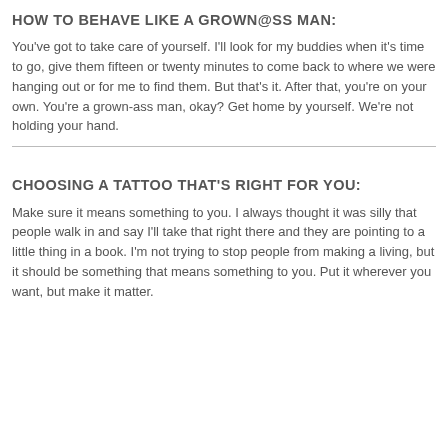HOW TO BEHAVE LIKE A GROWN@SS MAN:
You've got to take care of yourself. I'll look for my buddies when it's time to go, give them fifteen or twenty minutes to come back to where we were hanging out or for me to find them. But that's it. After that, you're on your own. You're a grown-ass man, okay? Get home by yourself. We're not holding your hand.
CHOOSING A TATTOO THAT'S RIGHT FOR YOU:
Make sure it means something to you. I always thought it was silly that people walk in and say I'll take that right there and they are pointing to a little thing in a book. I'm not trying to stop people from making a living, but it should be something that means something to you. Put it wherever you want, but make it matter.